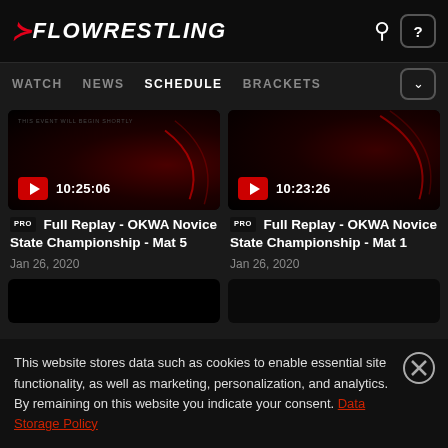FLOWRESTLING — WATCH | NEWS | SCHEDULE | BRACKETS
[Figure (screenshot): Video thumbnail with play button showing duration 10:25:06, dark background with red glow]
PRO Full Replay - OKWA Novice State Championship - Mat 5
Jan 26, 2020
[Figure (screenshot): Video thumbnail with play button showing duration 10:23:26, dark background with red glow]
PRO Full Replay - OKWA Novice State Championship - Mat 1
Jan 26, 2020
This website stores data such as cookies to enable essential site functionality, as well as marketing, personalization, and analytics. By remaining on this website you indicate your consent. Data Storage Policy